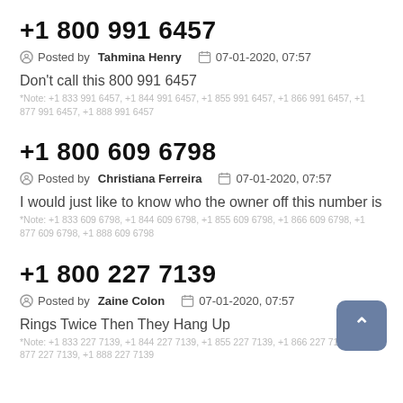+1 800 991 6457
Posted by Tahmina Henry   07-01-2020, 07:57
Don't call this 800 991 6457
*Note: +1 833 991 6457, +1 844 991 6457, +1 855 991 6457, +1 866 991 6457, +1 877 991 6457, +1 888 991 6457
+1 800 609 6798
Posted by Christiana Ferreira   07-01-2020, 07:57
I would just like to know who the owner off this number is
*Note: +1 833 609 6798, +1 844 609 6798, +1 855 609 6798, +1 866 609 6798, +1 877 609 6798, +1 888 609 6798
+1 800 227 7139
Posted by Zaine Colon   07-01-2020, 07:57
Rings Twice Then They Hang Up
*Note: +1 833 227 7139, +1 844 227 7139, +1 855 227 7139, +1 866 227 7139, +1 877 227 7139, +1 888 227 7139